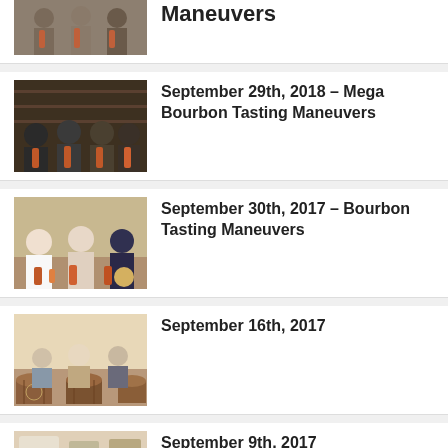[Figure (photo): Partial photo of people with bourbon bottles (top, cropped)]
Maneuvers
[Figure (photo): Group of men posed behind bourbon bottles at a bar]
September 29th, 2018 – Mega Bourbon Tasting Maneuvers
[Figure (photo): Three people holding up bourbon bottles at a tasting event]
September 30th, 2017 – Bourbon Tasting Maneuvers
[Figure (photo): Three men standing in front of whiskey barrels at a distillery]
September 16th, 2017
[Figure (photo): Partial photo at bottom of page (cropped)]
September 9th, 2017